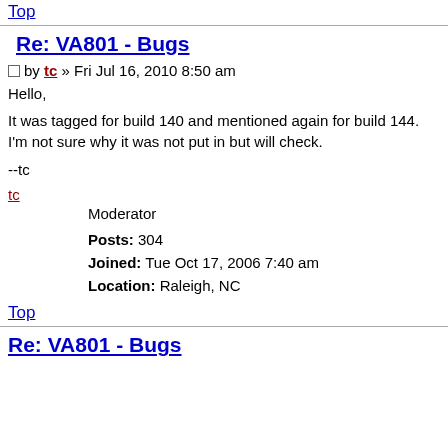Top
Re: VA801 - Bugs
by tc » Fri Jul 16, 2010 8:50 am
Hello,
It was tagged for build 140 and mentioned again for build 144. I'm not sure why it was not put in but will check.
--tc
tc
Moderator
Posts: 304
Joined: Tue Oct 17, 2006 7:40 am
Location: Raleigh, NC
Top
Re: VA801 - Bugs